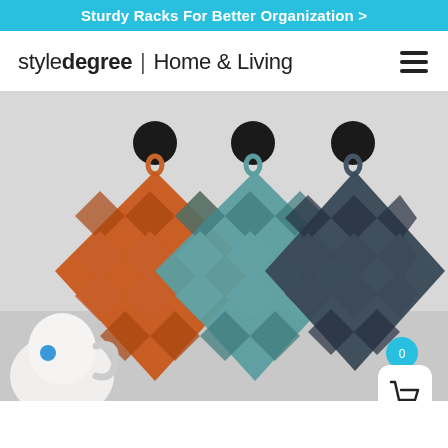Sturdy Racks For Better Organization >
styledegree | Home & Living
[Figure (photo): Three decorative pot holders/trivets with a 3D geometric chevron/diamond pattern, hanging on black circular wall hooks against a light gray background. Left is terracotta/rust orange, center is teal/dusty blue, right is dark slate/charcoal. A white kettle with blue detail is visible in the lower left corner.]